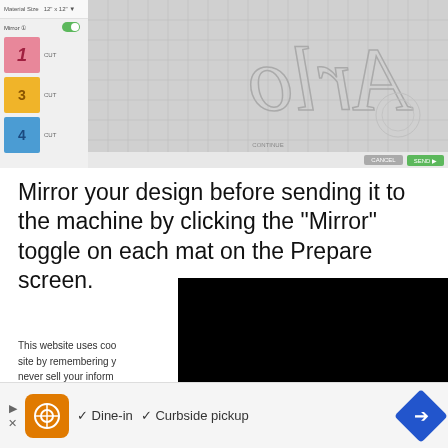[Figure (screenshot): Cricut Design Space Prepare screen showing mat layout with pink mat (1), yellow mat (3), blue mat (4), and a canvas area showing mirrored 'Arlo' text design in grid view. Mirror toggle is enabled (green). Cancel and Send buttons visible at bottom right.]
Mirror your design before sending it to the machine by clicking the “Mirror” toggle on each mat on the Prepare screen.
This website uses coo site by remembering y never sell your inform anything other than us up for it).
[Figure (screenshot): Black video player area partially visible]
[Figure (advertisement): Restaurant ad bar showing orange logo, checkmarks for Dine-in and Curbside pickup options, and blue diamond arrow button]